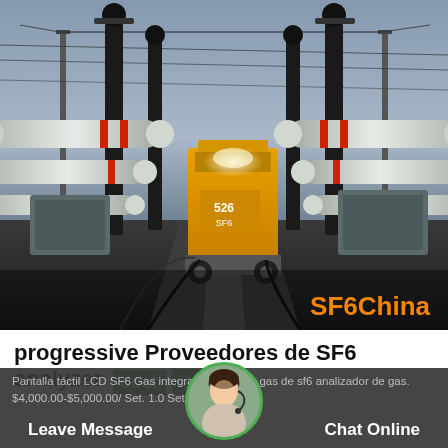[Figure (photo): Electrical substation with large cylindrical insulators/bushings on left and right, overhead transmission lines, a yellow mobile SF6 gas servicing truck/unit in the center background, dusk lighting. Text 'SF6China' in orange bottom-right corner.]
progressive Proveedores de SF6 analyzer cost
Pantalla táctil LCD SF6 Gas integral sf6 fuga de gas de sf6 analizador de gas. $4,000.00-$5,000.00/ Set. 1.0 Set (Orden